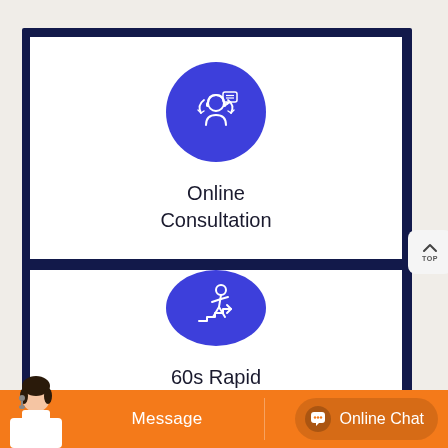[Figure (illustration): Blue circle icon with a customer service consultation illustration (person with headset, arrows, chat bubble)]
Online Consultation
[Figure (illustration): Blue circle icon with a running/rapid recovery figure illustration]
60s Rapid Recovery
[Figure (infographic): Orange bottom bar with Message button on left and Online Chat button on right, with customer service agent photo]
Message
Online Chat